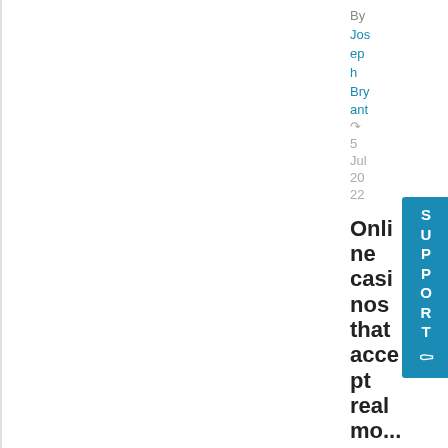By
Joseph Bryant
5 Jul 2022
Online casinos that accept real mo...nge
[Figure (other): SUPPORT button widget on the right side of the page, teal/blue background with white text reading SUPPORT vertically and a life preserver icon]